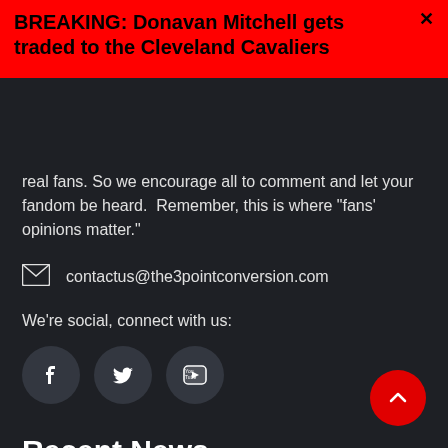BREAKING: Donavan Mitchell gets traded to the Cleveland Cavaliers
real fans. So we encourage all to comment and let your fandom be heard.  Remember, this is where "fans' opinions matter."
contactus@the3pointconversion.com
We're social, connect with us:
[Figure (infographic): Three social media icons: Facebook, Twitter, YouTube, shown as white icons on dark circular backgrounds]
Recent News
[Figure (photo): Football players on field, NFL game photo]
Who's House? Aaron's House – 2022 NFC North Preview